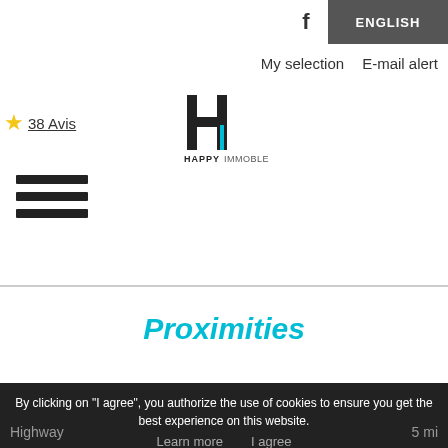[Figure (logo): Happy Immobler logo with stylized H and company name]
38 Avis
ENGLISH
My selection   E-mail alert
[Figure (infographic): Hamburger menu icon with three horizontal lines]
Proximities
By clicking on "I agree", you authorize the use of cookies to ensure you get the best experience on this website.
Learn more    I agree
Highway   5 mi